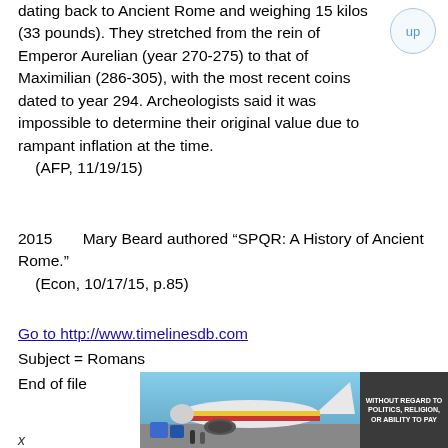dating back to Ancient Rome and weighing 15 kilos (33 pounds). They stretched from the rein of Emperor Aurelian (year 270-275) to that of Maximilian (286-305), with the most recent coins dated to year 294. Archeologists said it was impossible to determine their original value due to rampant inflation at the time.
    (AFP, 11/19/15)
2015	Mary Beard authored “SPQR: A History of Ancient Rome.”
    (Econ, 10/17/15, p.85)
Go to http://www.timelinesdb.com
Subject = Romans
End of file
[Figure (photo): Advertisement banner showing an airplane being loaded with cargo, featuring a Southwest Airlines-style livery with yellow, red, and blue stripes. A dark overlay panel on the right reads 'WITHOUT REGARD TO POLITICS, RELIGION, OR ABILITY TO PAY'.]